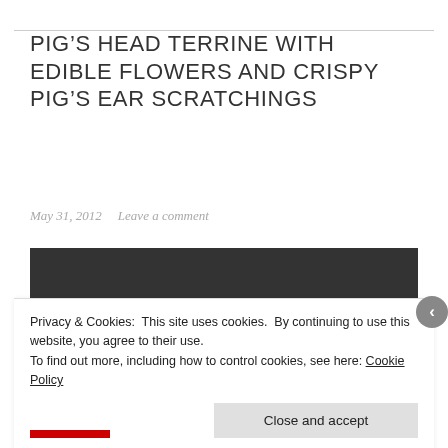PIG'S HEAD TERRINE WITH EDIBLE FLOWERS AND CRISPY PIG'S EAR SCRATCHINGS
May 31, 2012   Leave a comment
[Figure (photo): Dark rectangular image block, content partially visible]
Privacy & Cookies: This site uses cookies. By continuing to use this website, you agree to their use. To find out more, including how to control cookies, see here: Cookie Policy
Close and accept